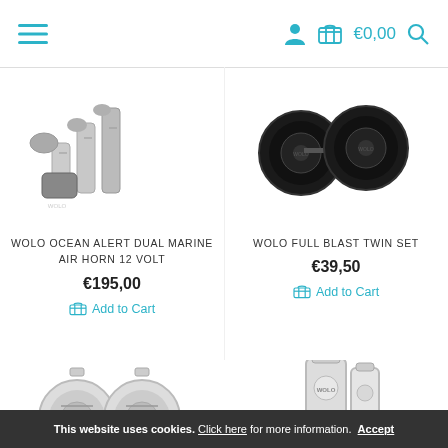≡  [user icon] [cart icon] €0,00 [search icon]
[Figure (photo): Wolo Ocean Alert Dual Marine Air Horn 12 Volt - chrome triple trumpet horn]
WOLO OCEAN ALERT DUAL MARINE AIR HORN 12 VOLT
€195,00
Add to Cart
[Figure (photo): Wolo Full Blast Twin Set - two black disc horns]
WOLO FULL BLAST TWIN SET
€39,50
Add to Cart
[Figure (photo): Two chrome disc horns product image]
[Figure (photo): Chrome horn set with Wolo branding]
This website uses cookies. Click here for more information. Accept